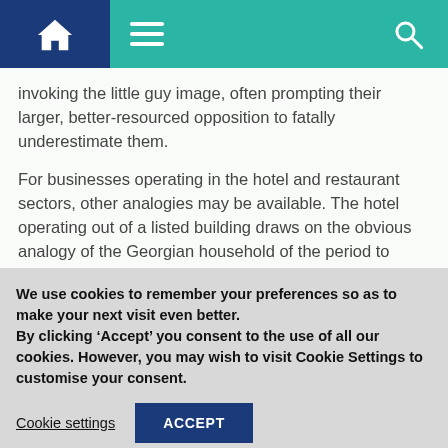Navigation bar with home, menu, and search icons
invoking the little guy image, often prompting their larger, better-resourced opposition to fatally underestimate them.
For businesses operating in the hotel and restaurant sectors, other analogies may be available. The hotel operating out of a listed building draws on the obvious analogy of the Georgian household of the period to invoke a particular hospitality and comfort. Restaurants
We use cookies to remember your preferences so as to make your next visit even better.
By clicking ‘Accept’ you consent to the use of all our cookies. However, you may wish to visit Cookie Settings to customise your consent.
Cookie settings
ACCEPT